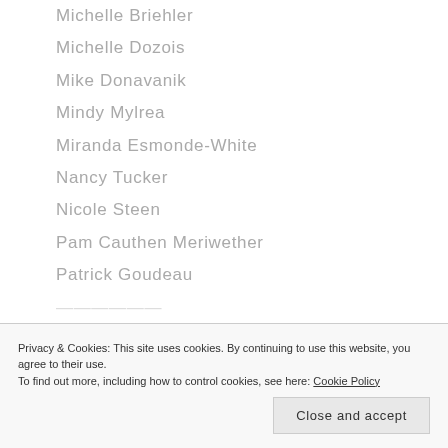Michelle Briehler
Michelle Dozois
Mike Donavanik
Mindy Mylrea
Miranda Esmonde-White
Nancy Tucker
Nicole Steen
Pam Cauthen Meriwether
Patrick Goudeau
Sagitalov (partial)
Privacy & Cookies: This site uses cookies. By continuing to use this website, you agree to their use. To find out more, including how to control cookies, see here: Cookie Policy
Close and accept